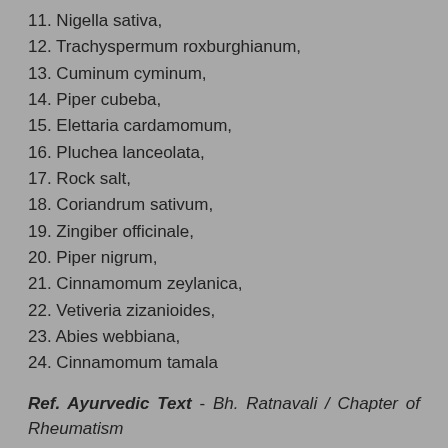11. Nigella sativa,
12. Trachyspermum roxburghianum,
13. Cuminum cyminum,
14. Piper cubeba,
15. Elettaria cardamomum,
16. Pluchea lanceolata,
17. Rock salt,
18. Coriandrum sativum,
19. Zingiber officinale,
20. Piper nigrum,
21. Cinnamomum zeylanica,
22. Vetiveria zizanioides,
23. Abies webbiana,
24. Cinnamomum tamala
Ref. Ayurvedic Text - Bh. Ratnavali / Chapter of Rheumatism
These tablets are formed with combination of various amazing herbs that work synergistically to treat that